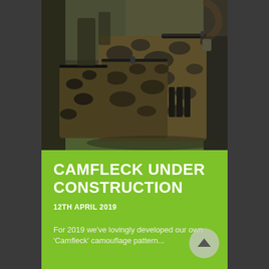[Figure (photo): Camouflage pattern bags/gear arranged on grass outdoors. Main item is a large camoufleck-patterned bag with multiple pockets and straps, with similar items in the background.]
CAMFLECK UNDER CONSTRUCTION
12TH APRIL 2019
For 2019 we've lovingly developed our own 'Camfleck' camouflage pattern...